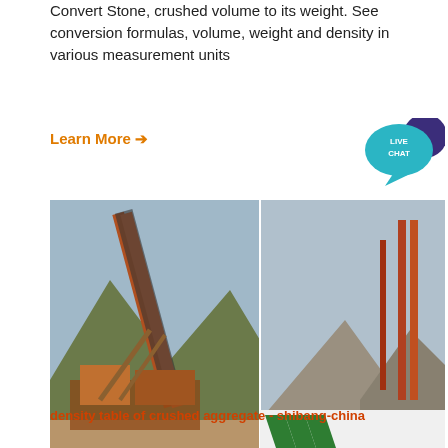Convert Stone, crushed volume to its weight. See conversion formulas, volume, weight and density in various measurement units
Learn More →
[Figure (other): Live chat speech bubble icon in teal/purple with text LIVE CHAT]
[Figure (photo): Industrial stone crushing and mining equipment facility with conveyor belts, piles of crushed stone aggregate, and an ACRUSHER Mining Equipment logo overlay in the bottom right.]
density table of crushed aggregate - shibang-china